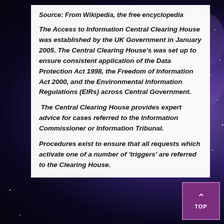Source: From Wikipedia, the free encyclopedia
The Access to Information Central Clearing House was established by the UK Government in January 2005. The Central Clearing House's was set up to ensure consistent application of the Data Protection Act 1998, the Freedom of Information Act 2000, and the Environmental Information Regulations (EIRs) across Central Government.
The Central Clearing House provides expert advice for cases referred to the Information Commissioner or Information Tribunal.
Procedures exist to ensure that all requests which activate one of a number of 'triggers' are referred to the Clearing House.